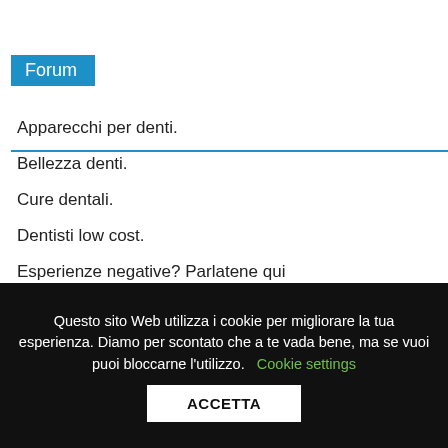Forum
Apparecchi per denti.
Bellezza denti.
Cure dentali.
Dentisti low cost.
Esperienze negative? Parlatene qui
Implantologia dentale.
Studi e cliniche dentali.
Questo sito Web utilizza i cookie per migliorare la tua esperienza. Diamo per scontato che a te vada bene, ma se vuoi puoi bloccarne l'utilizzo. Cookie settings
ACCETTA